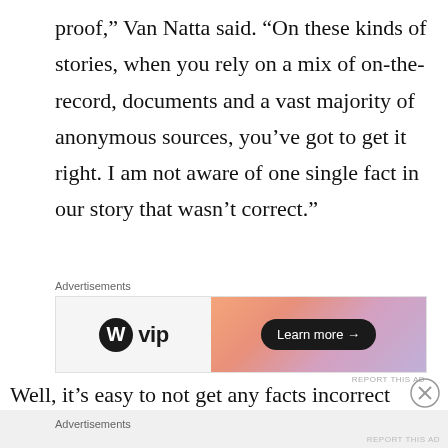proof,” Van Natta said. “On these kinds of stories, when you rely on a mix of on-the-record, documents and a vast majority of anonymous sources, you’ve got to get it right. I am not aware of one single fact in our story that wasn’t correct.”
Advertisements
[Figure (other): WordPress VIP advertisement banner with gradient orange-pink-purple background and 'Learn more →' button]
Well, it’s easy to not get any facts incorrect when
Advertisements